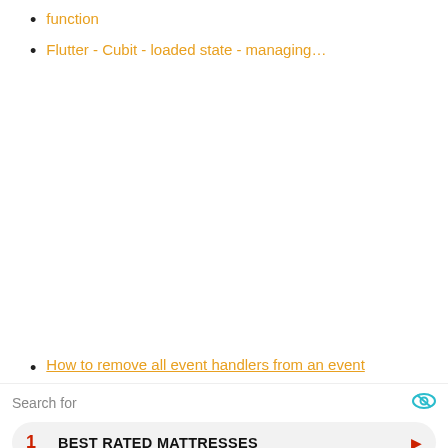function
Flutter - Cubit - loaded state - managing…
How to remove all event handlers from an event
Search for
1  BEST RATED MATTRESSES
2  HOMES FOR SALE BY OWNER
Ad | Business Focus